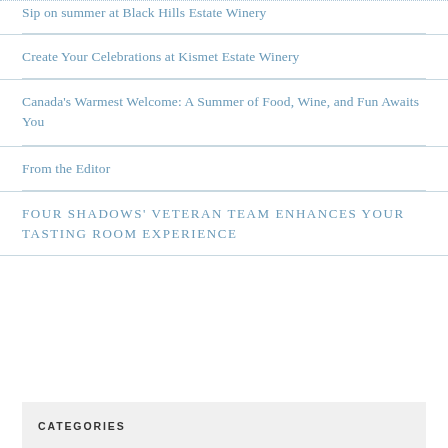Sip on summer at Black Hills Estate Winery
Create Your Celebrations at Kismet Estate Winery
Canada's Warmest Welcome: A Summer of Food, Wine, and Fun Awaits You
From the Editor
FOUR SHADOWS' VETERAN TEAM ENHANCES YOUR TASTING ROOM EXPERIENCE
CATEGORIES